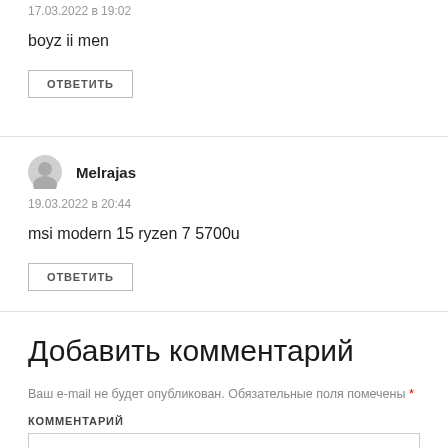17.03.2022 в 19:02
boyz ii men
ОТВЕТИТЬ
Melrajas
19.03.2022 в 20:44
msi modern 15 ryzen 7 5700u
ОТВЕТИТЬ
Добавить комментарий
Ваш e-mail не будет опубликован. Обязательные поля помечены *
КОММЕНТАРИЙ